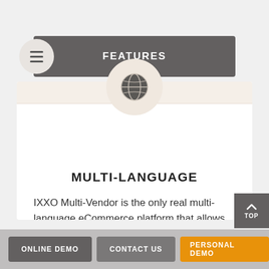FEATURES
[Figure (illustration): Globe icon inside a beige circle]
MULTI-LANGUAGE
IXXO Multi-Vendor is the only real multi-language eCommerce platform that allows your vendors to set their products in any language including RTL languages like Arabic